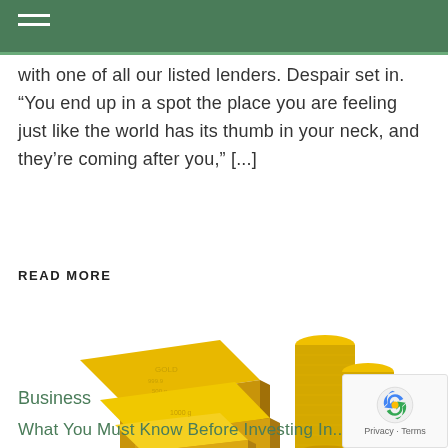with one of all our listed lenders. Despair set in. “You end up in a spot the place you are feeling just like the world has its thumb in your neck, and they’re coming after you,” [...]
READ MORE
[Figure (photo): Gold bars and stacked gold coins on a white background]
Business
What You Must Know Before Investing In...